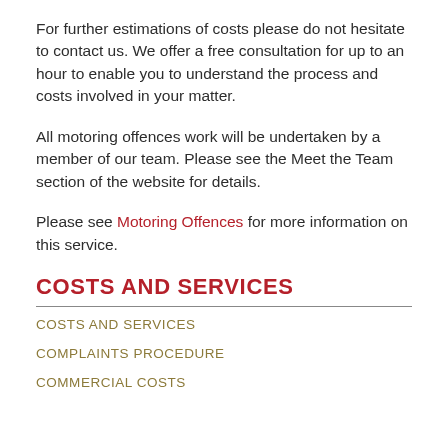For further estimations of costs please do not hesitate to contact us. We offer a free consultation for up to an hour to enable you to understand the process and costs involved in your matter.
All motoring offences work will be undertaken by a member of our team. Please see the Meet the Team section of the website for details.
Please see Motoring Offences for more information on this service.
COSTS AND SERVICES
COSTS AND SERVICES
COMPLAINTS PROCEDURE
COMMERCIAL COSTS